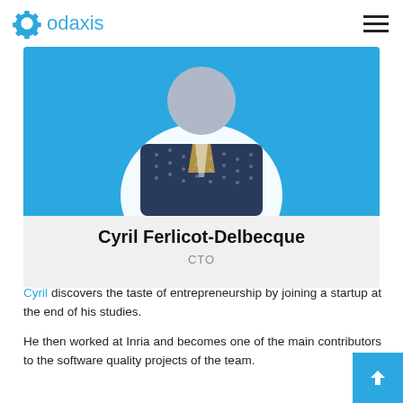Codaxis
[Figure (photo): Profile photo of Cyril Ferlicot-Delbecque on a blue background banner]
Cyril Ferlicot-Delbecque
CTO
Cyril discovers the taste of entrepreneurship by joining a startup at the end of his studies.
He then worked at Inria and becomes one of the main contributors to the software quality projects of the team.